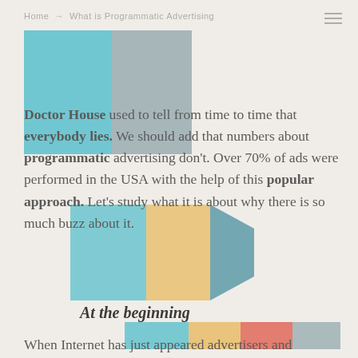Home → What is Programmatic Advertising
[Figure (illustration): Decorative colored rectangular blocks: large teal and gray squares top-left, smaller teal/orange/dark blocks mid-page, and a row of colored rectangles lower on page. These are design/branding decorative elements.]
Doctor House used to tell from time to time that everybody lies. We should add that numbers about programmatic advertising don't. Over 70% of ads were performed in the USA with the help of this popular approach. Let's study what it is about why there is so much buzz about it.
At the beginning
When Internet has just appeared advertisers and publishers used to contact each other directly to discuss options for advertising. It was time consuming and boring process. Besides, it was difficult if there were changes to apply immediately.